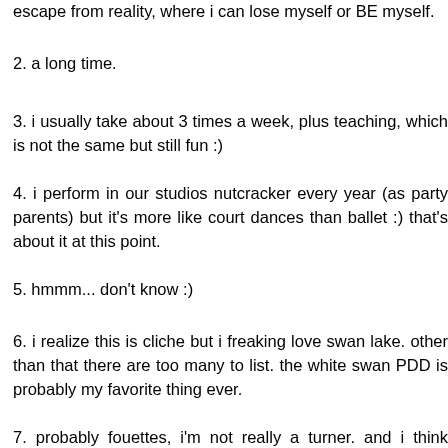escape from reality, where i can lose myself or BE myself.
2. a long time.
3. i usually take about 3 times a week, plus teaching, which is not the same but still fun :)
4. i perform in our studios nutcracker every year (as party parents) but it's more like court dances than ballet :) that's about it at this point.
5. hmmm... don't know :)
6. i realize this is cliche but i freaking love swan lake. other than that there are too many to list. the white swan PDD is probably my favorite thing ever.
7.  probably fouettes, i'm not really a turner. and i think brisse vole' is hard :)
8. adagio i think, tho it can be grueling it seems that's what people always compliment me on. i love interpreting the music. i can get lost in it. but i also really love jumps and